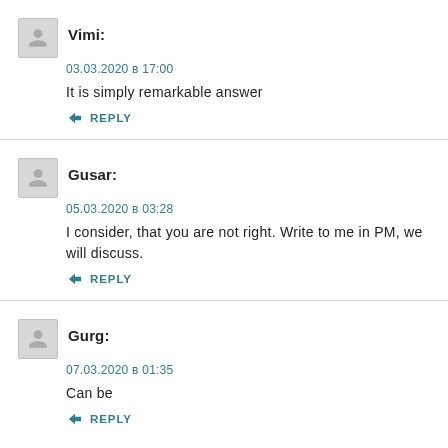Vimi:
03.03.2020 в 17:00
It is simply remarkable answer
REPLY
Gusar:
05.03.2020 в 03:28
I consider, that you are not right. Write to me in PM, we will discuss.
REPLY
Gurg:
07.03.2020 в 01:35
Can be
REPLY